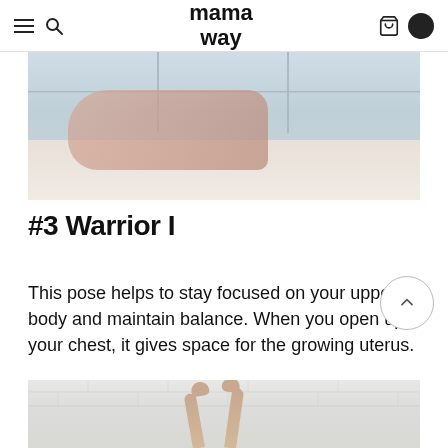mama way
[Figure (photo): Woman in white underwear on hands and knees on a white bed, with large windows in the background letting in natural light. A yoga/stretching pose on a bed.]
#3 Warrior I
This pose helps to stay focused on your upper body and maintain balance. When you open up your chest, it gives space for the growing uterus.
[Figure (photo): Person raising both arms up in a Warrior I yoga pose against a white brick wall background. Arms and hands are visible reaching upward.]